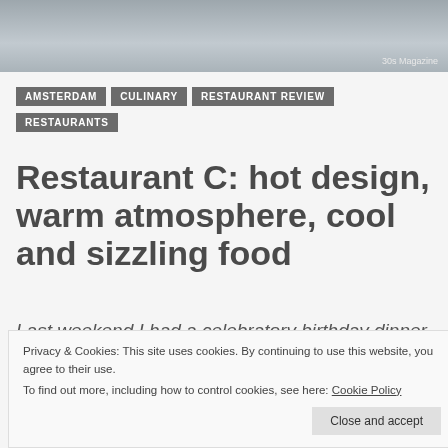[Figure (photo): Restaurant interior photo banner showing tables and chairs, with '30s Magazine' watermark in bottom right corner]
AMSTERDAM   CULINARY   RESTAURANT REVIEW   RESTAURANTS
Restaurant C: hot design, warm atmosphere, cool and sizzling food
Last weekend I had a celebratory birthday dinner of a friend in the newly opened
Privacy & Cookies: This site uses cookies. By continuing to use this website, you agree to their use.
To find out more, including how to control cookies, see here: Cookie Policy
Close and accept